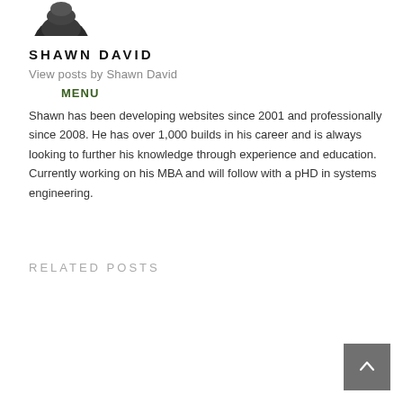[Figure (photo): Partial circular profile photo cropped at top of page, showing dark textured subject]
SHAWN DAVID
View posts by Shawn David
MENU
Shawn has been developing websites since 2001 and professionally since 2008. He has over 1,000 builds in his career and is always looking to further his knowledge through experience and education. Currently working on his MBA and will follow with a pHD in systems engineering.
RELATED POSTS